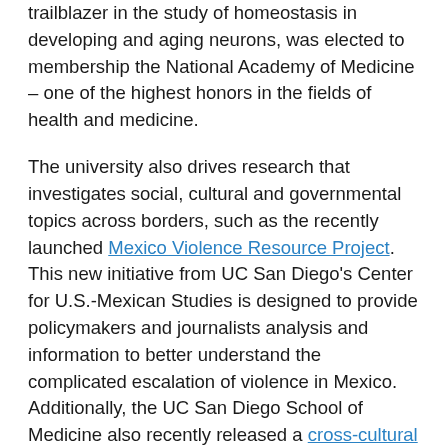trailblazer in the study of homeostasis in developing and aging neurons, was elected to membership the National Academy of Medicine – one of the highest honors in the fields of health and medicine.
The university also drives research that investigates social, cultural and governmental topics across borders, such as the recently launched Mexico Violence Resource Project. This new initiative from UC San Diego's Center for U.S.-Mexican Studies is designed to provide policymakers and journalists analysis and information to better understand the complicated escalation of violence in Mexico. Additionally, the UC San Diego School of Medicine also recently released a cross-cultural study conducted alongside researchers from the University of Rome La Sapienza. The collaborative study examined middle-aged and older adults in San Diego and Cilento, Italy, with findings suggesting that wisdom may be a protective factor against loneliness.